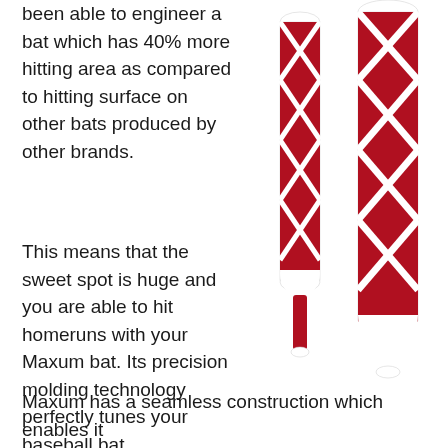been able to engineer a bat which has 40% more hitting area as compared to hitting surface on other bats produced by other brands.
[Figure (photo): Two red and white baseball bats shown vertically side by side, featuring a geometric white pattern on a red barrel with a red grip handle]
This means that the sweet spot is huge and you are able to hit homeruns with your Maxum bat. Its precision molding technology perfectly tunes your baseball bat.
Maxum has a seamless construction which enables it